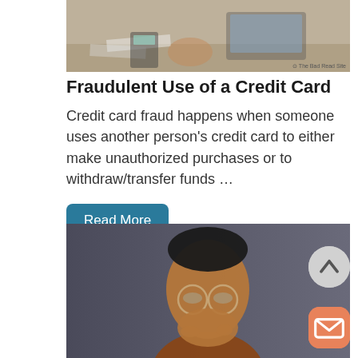[Figure (photo): Photo of a person working at a desk with a laptop, papers, and a calculator — cropped to show hands and workspace from above.]
Fraudulent Use of a Credit Card
Credit card fraud happens when someone uses another person's credit card to either make unauthorized purchases or to withdraw/transfer funds …
Read More
[Figure (photo): Portrait photo of a young man with glasses covering his mouth with his hand, appearing surprised, against a gray background.]